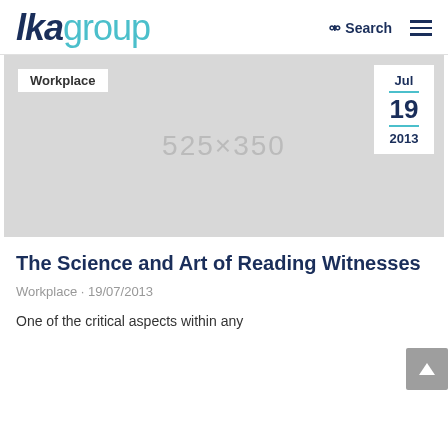lkagroup — Search ≡
[Figure (photo): Placeholder image 525×350 with Workplace tag top-left and date box (Jul 19 2013) top-right]
The Science and Art of Reading Witnesses
Workplace · 19/07/2013
One of the critical aspects within any